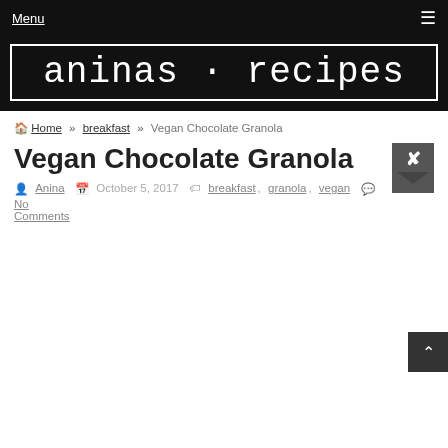Menu ☰
[Figure (logo): aninas·recipes logo in white monospace text on black background with white border]
🏠 Home » breakfast » Vegan Chocolate Granola
Vegan Chocolate Granola
Anina  October 5, 2017  breakfast, granola, vegan  No Comments